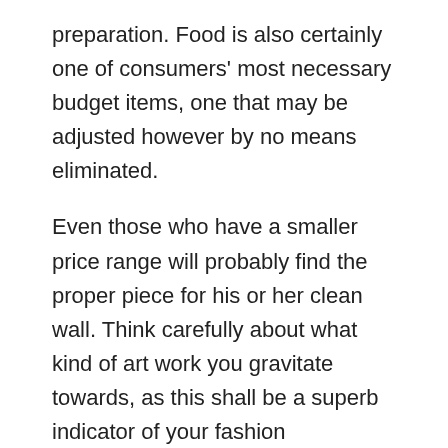preparation. Food is also certainly one of consumers' most necessary budget items, one that may be adjusted however by no means eliminated.
Even those who have a smaller price range will probably find the proper piece for his or her clean wall. Think carefully about what kind of art work you gravitate towards, as this shall be a superb indicator of your fashion preferences. Do you find yourself drawn to seaside watercolors, vintage caricatures, contemporary how to meet japanese woman items, or summary pieces? If you realize what you want, you'll have a greater idea of what on-line art platform you should scope out. If you're in an condo group swing by the resident appreciation events. You'll get to